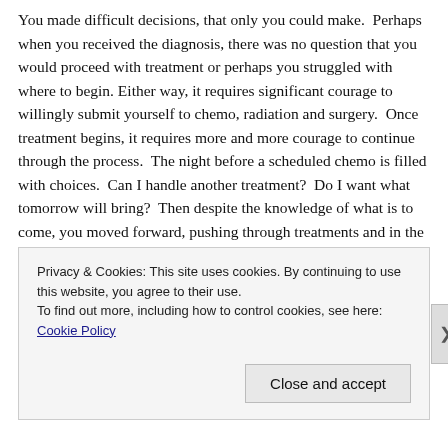You made difficult decisions, that only you could make.  Perhaps when you received the diagnosis, there was no question that you would proceed with treatment or perhaps you struggled with where to begin. Either way, it requires significant courage to willingly submit yourself to chemo, radiation and surgery.  Once treatment begins, it requires more and more courage to continue through the process.  The night before a scheduled chemo is filled with choices.  Can I handle another treatment?  Do I want what tomorrow will bring?  Then despite the knowledge of what is to come, you moved forward, pushing through treatments and in the end accomplishing impossible things.  You pushed back a disease that wanted to kill you.  You beat the odds.  You are
Privacy & Cookies: This site uses cookies. By continuing to use this website, you agree to their use.
To find out more, including how to control cookies, see here: Cookie Policy